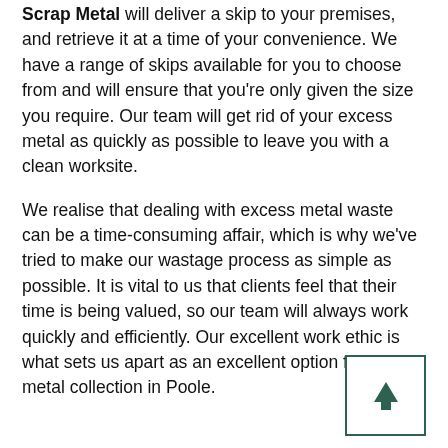Scrap Metal will deliver a skip to your premises, and retrieve it at a time of your convenience. We have a range of skips available for you to choose from and will ensure that you're only given the size you require. Our team will get rid of your excess metal as quickly as possible to leave you with a clean worksite.
We realise that dealing with excess metal waste can be a time-consuming affair, which is why we've tried to make our wastage process as simple as possible. It is vital to us that clients feel that their time is being valued, so our team will always work quickly and efficiently. Our excellent work ethic is what sets us apart as an excellent option for scrap metal collection in Poole.